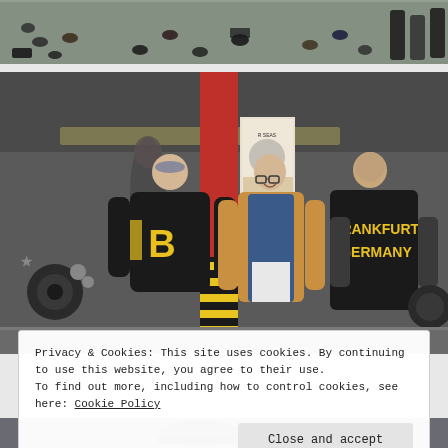[Figure (photo): Aerial view of people and motorcycles at what appears to be a motorcycle event or gathering, viewed from above.]
[Figure (photo): Three men conversing outside a building. Left man wearing a black jacket with yellow letter 'B', center man in a tan/khaki jacket with glasses, right man in a black leather jacket reading 'FRANKFURT GERMANY' in yellow letters. Motorcycles and a red pillar visible in background.]
Privacy & Cookies: This site uses cookies. By continuing to use this website, you agree to their use.
To find out more, including how to control cookies, see here: Cookie Policy
Close and accept
[Figure (photo): Partial view of motorcycle and person's feet/shoes at bottom of page.]